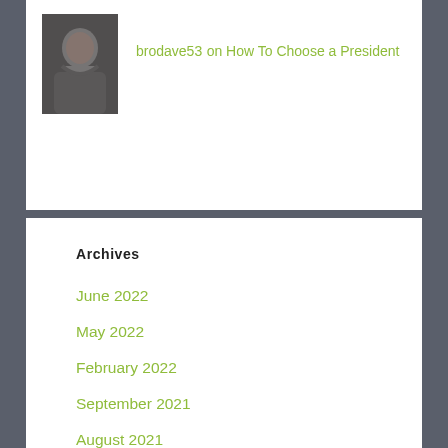[Figure (photo): Profile photo of a person (brodave53), grayscale portrait of an older man in a dark shirt]
brodave53 on How To Choose a President
Archives
June 2022
May 2022
February 2022
September 2021
August 2021
July 2021
June 2021
April 2021